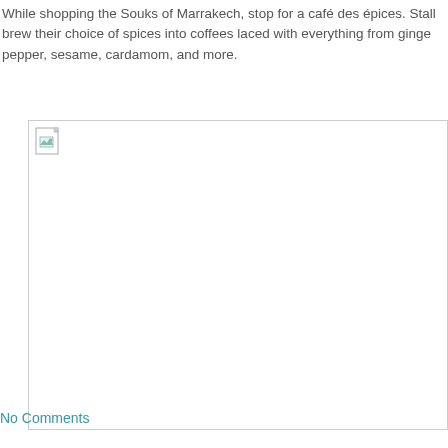While shopping the Souks of Marrakech, stop for a café des épices. Stall brew their choice of spices into coffees laced with everything from ginge pepper, sesame, cardamom, and more.
[Figure (photo): A broken/missing image placeholder inside a thin bordered rectangle, showing a small broken image icon in the top-left corner.]
No Comments